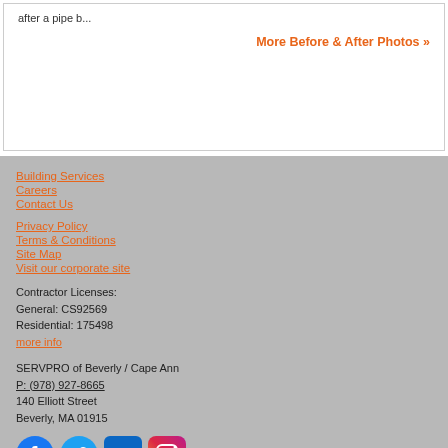after a pipe b...
More Before & After Photos »
Building Services
Careers
Contact Us
Privacy Policy
Terms & Conditions
Site Map
Visit our corporate site
Contractor Licenses:
General: CS92569
Residential: 175498
more info
SERVPRO of Beverly / Cape Ann
P: (978) 927-8665
140 Elliott Street
Beverly, MA 01915
[Figure (logo): Social media icons: Facebook, Twitter, LinkedIn, Instagram]
© Servpro Industries, LLC. – All services in the U.S. performed by independently owned and operated franchises of Servpro Industries, LLC.